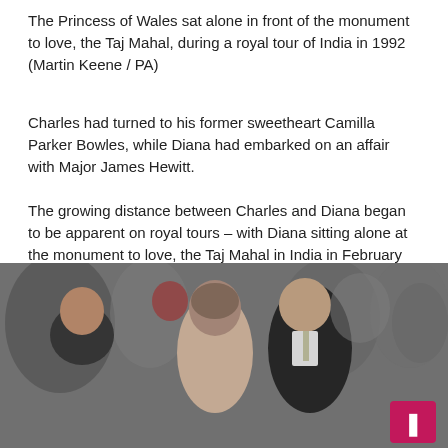The Princess of Wales sat alone in front of the monument to love, the Taj Mahal, during a royal tour of India in 1992 (Martin Keene / PA)
Charles had turned to his former sweetheart Camilla Parker Bowles, while Diana had embarked on an affair with Major James Hewitt.
The growing distance between Charles and Diana began to be apparent on royal tours – with Diana sitting alone at the monument to love, the Taj Mahal in India in February 1992.
On the same trip, Charles attempted to kiss his wife but collided with her ear at the Jaipur Polo Club.
[Figure (photo): Black and white photo of Charles and Diana at the Jaipur Polo Club. Diana is seen from behind, Charles leans in toward her ear. A third man in a suit smiles nearby. Crowd visible in background.]